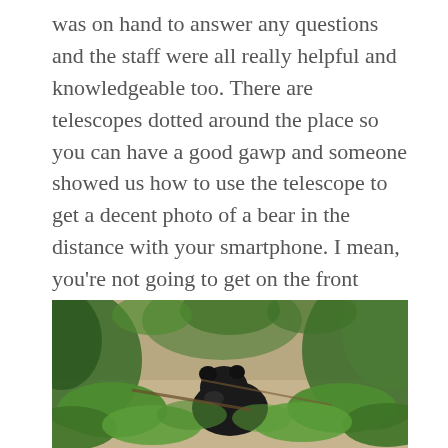was on hand to answer any questions and the staff were all really helpful and knowledgeable too. There are telescopes dotted around the place so you can have a good gawp and someone showed us how to use the telescope to get a decent photo of a bear in the distance with your smartphone. I mean, you're not going to get on the front cover of Nat Geo with your shots but it won't hurt to tell Instagram all about it. Nat was feeling well enough to join us today which was good, she'd have been gutted if she'd missed this. She wasn't feeling amazing but at least her internal organs weren't squirting out of her arse any more.
[Figure (photo): A black bear photographed through foliage and green leaves on a sandy/dirt ground in a forest setting.]